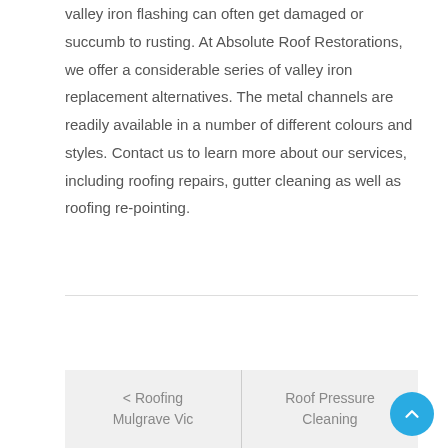valley iron flashing can often get damaged or succumb to rusting. At Absolute Roof Restorations, we offer a considerable series of valley iron replacement alternatives. The metal channels are readily available in a number of different colours and styles. Contact us to learn more about our services, including roofing repairs, gutter cleaning as well as roofing re-pointing.
< Roofing Mulgrave Vic
Roof Pressure Cleaning